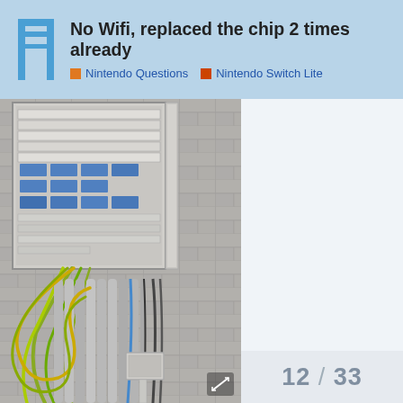No Wifi, replaced the chip 2 times already | Nintendo Questions | Nintendo Switch Lite
[Figure (photo): Photograph of a wall-mounted electrical panel/fuse box with numerous wires and cables, including green/yellow and black wires, mounted on a concrete block wall. A small junction box is visible lower on the wall.]
12 / 33